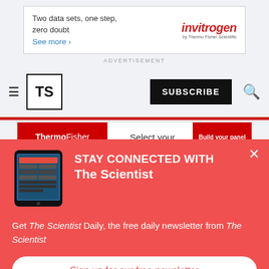[Figure (other): Invitrogen advertisement banner: 'Two data sets, one step, zero doubt. See more ›' with Invitrogen by Thermo Fisher Scientific logo]
ADVERTISEMENT
[Figure (logo): The Scientist (TS) logo with hamburger menu, SUBSCRIBE button and search icon in navigation bar]
[Figure (other): ThermoFisher Scientific ad strip: 'Select your' with 'Build your panel' button]
[Figure (other): Popup overlay: STAY CONNECTED WITH The Scientist. Tablet image on left.]
Get The Scientist Daily, the free daily newsletter from The Scientist
Sign up for our free newsletter